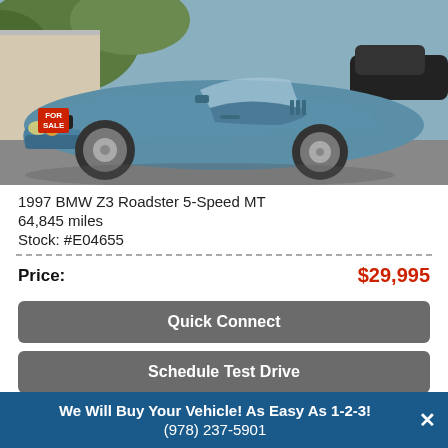[Figure (photo): 1997 BMW Z3 Roadster in blue/teal color, parked in a driveway with a 'FOR SALE' sign on the windshield. Side/front view showing the classic roadster profile.]
1997 BMW Z3 Roadster 5-Speed MT
64,845 miles
Stock: #E04655
Price: $29,995
Quick Connect
Schedule Test Drive
We Will Buy Your Vehicle! As Easy As 1-2-3!
(978) 237-5901